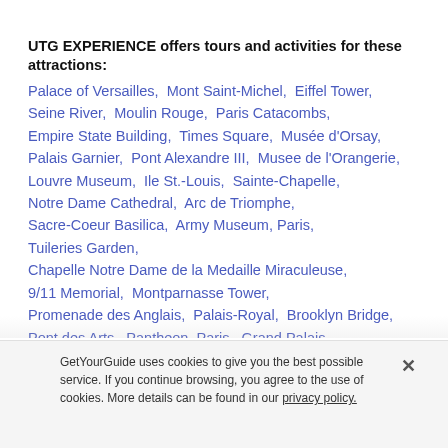UTG EXPERIENCE offers tours and activities for these attractions:
Palace of Versailles,  Mont Saint-Michel,  Eiffel Tower,  Seine River,  Moulin Rouge,  Paris Catacombs,  Empire State Building,  Times Square,  Musée d'Orsay,  Palais Garnier,  Pont Alexandre III,  Musee de l'Orangerie,  Louvre Museum,  Ile St.-Louis,  Sainte-Chapelle,  Notre Dame Cathedral,  Arc de Triomphe,  Sacre-Coeur Basilica,  Army Museum, Paris,  Tuileries Garden,  Chapelle Notre Dame de la Medaille Miraculeuse,  9/11 Memorial,  Montparnasse Tower,  Promenade des Anglais,  Palais-Royal,  Brooklyn Bridge,  Pont des Arts,  Pantheon, Paris,  Grand Palais,  Place de la Concorde, Petit Palais, Place Vendôme
GetYourGuide uses cookies to give you the best possible service. If you continue browsing, you agree to the use of cookies. More details can be found in our privacy policy.